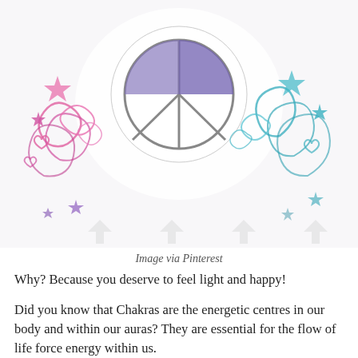[Figure (illustration): Decorative illustration showing a peace sign or similar circular design at the top, surrounded by colorful doodles including swirls, stars, and hearts in pink, purple, and teal/blue colors on a white background. Faint arrow/chevron watermarks visible.]
Image via Pinterest
Why? Because you deserve to feel light and happy!
Did you know that Chakras are the energetic centres in our body and within our auras? They are essential for the flow of life force energy within us.
For anyone new to all this like I was, in simple terms, life force is the energy that exists in all living things. It keeps us alive! Many of us lose sight or never really know what our “life force” is. We get so busy, it’s like we’re living our lives merely being characters of our selves rather thinking and adding